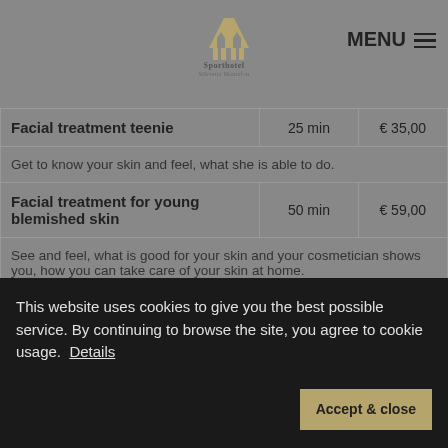Sporthotel Silvretta Montafon — MENU
| Treatment | Duration | Price |
| --- | --- | --- |
| Facial treatment teenie | 25 min | € 35,00 |
| Get to know your skin and feel, what she is able to do. |  |  |
| Facial treatment for young blemished skin | 50 min | € 59,00 |
| See and feel, what is good for your skin and your cosmetician shows you, how you can take care of your skin at home. |  |  |
| Massage of your request | 15 min
25 min | € 20,00
€ 35,00 |
| The pleasant smellig oils take care of your total body and you can |  |  |
This website uses cookies to give you the best possible service. By continuing to browse the site, you agree to cookie usage. Details
Accept & close